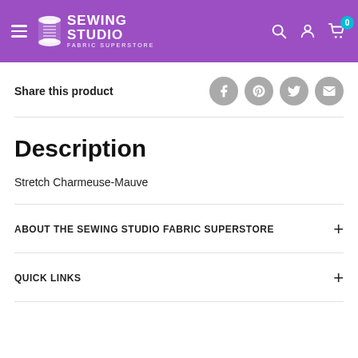Sewing Studio Fabric Superstore — navigation header
Share this product
Description
Stretch Charmeuse-Mauve
ABOUT THE SEWING STUDIO FABRIC SUPERSTORE
QUICK LINKS